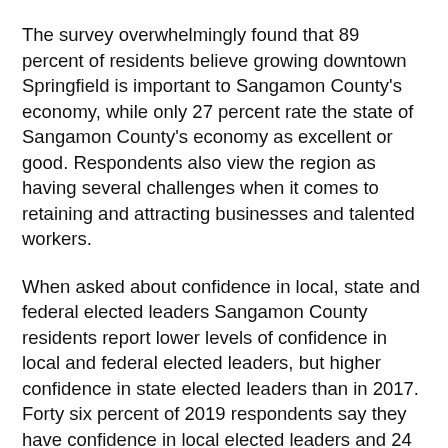The survey overwhelmingly found that 89 percent of residents believe growing downtown Springfield is important to Sangamon County's economy, while only 27 percent rate the state of Sangamon County's economy as excellent or good. Respondents also view the region as having several challenges when it comes to retaining and attracting businesses and talented workers.
When asked about confidence in local, state and federal elected leaders Sangamon County residents report lower levels of confidence in local and federal elected leaders, but higher confidence in state elected leaders than in 2017. Forty six percent of 2019 respondents say they have confidence in local elected leaders and 24 percent are confident in state and federal leaders.
When it comes to education, 72 percent of parents surveyed think the quality of education their child receives at local schools is either excellent or good.
On the topic of race relations, 71 percent of survey